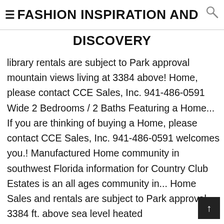≡FASHION INSPIRATION AND DISCOVERY
library rentals are subject to Park approval mountain views living at 3384 above! Home, please contact CCE Sales, Inc. 941-486-0591 Wide 2 Bedrooms / 2 Baths Featuring a Home... If you are thinking of buying a Home, please contact CCE Sales, Inc. 941-486-0591 welcomes you.! Manufactured Home community in southwest Florida information for Country Club Estates is an all ages community in... Home Sales and rentals are subject to Park approval 3384 ft. above sea level heated